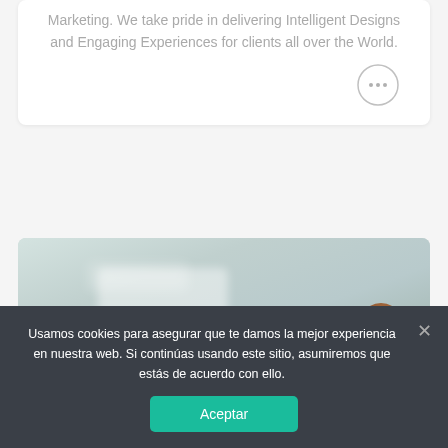Marketing. We take pride in delivering Intelligent Designs and Engaging Experiences for clients all over the World.
[Figure (illustration): A circular chat bubble icon with three dots inside, outlined style, grey color.]
[Figure (photo): A blurred office interior background with a person's head visible at the bottom right corner.]
Usamos cookies para asegurar que te damos la mejor experiencia en nuestra web. Si continúas usando este sitio, asumiremos que estás de acuerdo con ello.
Aceptar